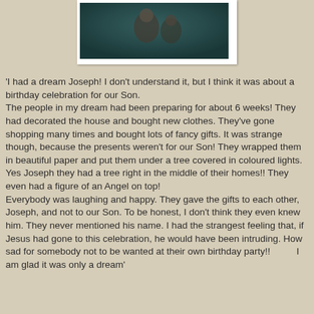[Figure (photo): A dark painting or photograph showing figures, possibly a religious or classical scene with a figure holding or near another figure, with dark teal/blue-green tones.]
'I had a dream Joseph! I don't understand it, but I think it was about a birthday celebration for our Son. The people in my dream had been preparing for about 6 weeks! They had decorated the house and bought new clothes. They've gone shopping many times and bought lots of fancy gifts. It was strange though, because the presents weren't for our Son! They wrapped them in beautiful paper and put them under a tree covered in coloured lights. Yes Joseph they had a tree right in the middle of their homes!! They even had a figure of an Angel on top! Everybody was laughing and happy. They gave the gifts to each other, Joseph, and not to our Son. To be honest, I don't think they even knew him. They never mentioned his name. I had the strangest feeling that, if Jesus had gone to this celebration, he would have been intruding. How sad for somebody not to be wanted at their own birthday party!!          I am glad it was only a dream'